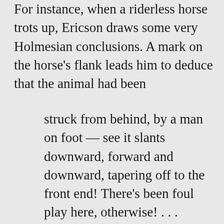For instance, when a riderless horse trots up, Ericson draws some very Holmesian conclusions. A mark on the horse's flank leads him to deduce that the animal had been
struck from behind, by a man on foot — see it slants downward, forward and downward, tapering off to the front end! There's been foul play here, otherwise! . . . Pistols both in the holsters — that looks cur'ous, and — this here cover's been pulled open, and in a hurry, too, for the loop's broke — both loaded! Ha!